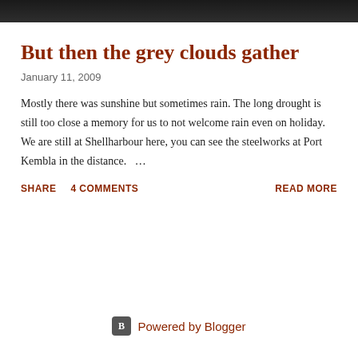[Figure (photo): Dark header image at the top of a blog page, showing a dark textured background.]
But then the grey clouds gather
January 11, 2009
Mostly there was sunshine but sometimes rain. The long drought is still too close a memory for us to not welcome rain even on holiday. We are still at Shellharbour here, you can see the steelworks at Port Kembla in the distance. ...
SHARE   4 COMMENTS   READ MORE
Powered by Blogger